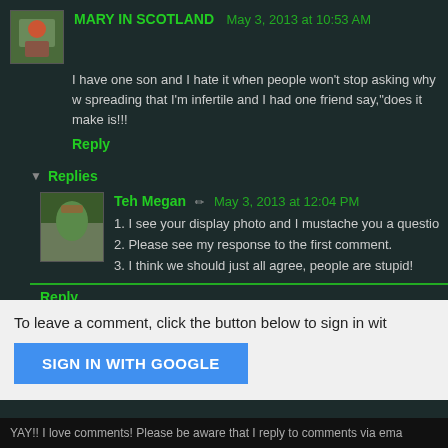MARY IN SCOTLAND   May 3, 2013 at 10:53 AM
I have one son and I hate it when people won't stop asking why w... spreading that I'm infertile and I had one friend say,"does it make... is!!!
Reply
Replies
Teh Megan   May 3, 2013 at 12:04 PM
1. I see your display photo and I mustache you a questio...
2. Please see my response to the first comment.
3. I think we should just all agree, people are stupid!
Reply
To leave a comment, click the button below to sign in wit...
SIGN IN WITH GOOGLE
YAY!! I love comments! Please be aware that I reply to comments via ema...